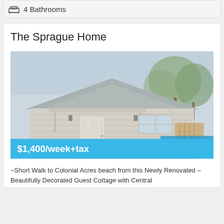4 Bathrooms
The Sprague Home
[Figure (photo): Exterior photo of a Cape Cod style cottage with white/grey siding, a white front door, flowers near the entrance, and a wooden fence on the right side. Overlay text: 'Cape Cod Summer Rental, ~Colonial Acres~' and price '$1,400/week+tax']
~Short Walk to Colonial Acres beach from this Newly Renovated – Beautifully Decorated Guest Cottage with Central